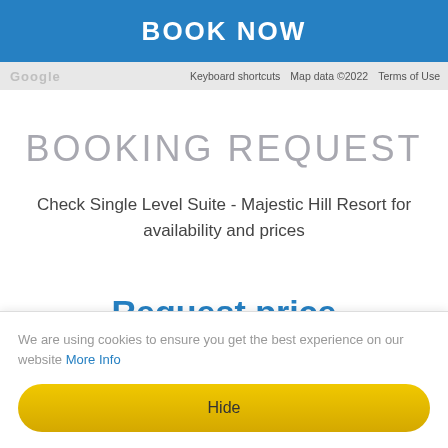BOOK NOW
[Figure (screenshot): Google Maps footer bar with Google logo, Keyboard shortcuts, Map data ©2022, Terms of Use]
BOOKING REQUEST
Check Single Level Suite - Majestic Hill Resort for availability and prices
Request price
We are using cookies to ensure you get the best experience on our website More Info
Hide